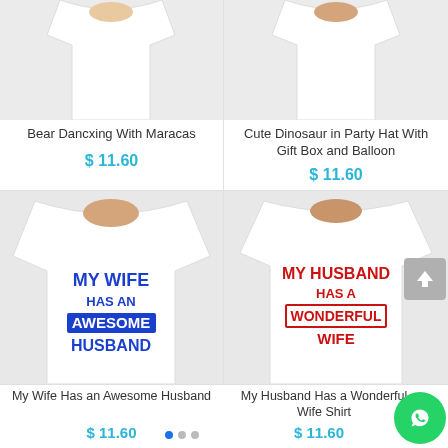[Figure (photo): White t-shirt worn by model, cropped to show torso - Bear Dancxing product]
Bear Dancxing With Maracas
$ 11.60
[Figure (photo): White t-shirt worn by model, cropped to show torso - Cute Dinosaur product]
Cute Dinosaur in Party Hat With Gift Box and Balloon
$ 11.60
[Figure (photo): White t-shirt with text MY WIFE HAS AN AWESOME HUSBAND in blue letters with blue highlight box]
My Wife Has an Awesome Husband
$ 11.60
[Figure (photo): White t-shirt worn by female model with text MY HUSBAND HAS A WONDERFUL WIFE in red letters with red border box]
My Husband Has a Wonderful Wife Shirt
$ 11.60